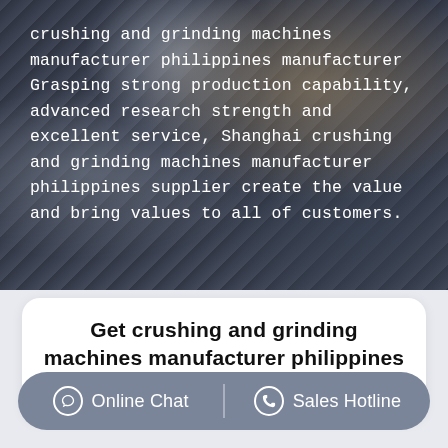[Figure (photo): Aerial view of a mining/quarry site with excavators and rocky terrain, used as background image]
crushing and grinding machines manufacturer philippines manufacturer Grasping strong production capability, advanced research strength and excellent service, Shanghai crushing and grinding machines manufacturer philippines supplier create the value and bring values to all of customers.
Get crushing and grinding machines manufacturer philippines Price supplier@pfpew.com
Online Chat | Sales Hotline